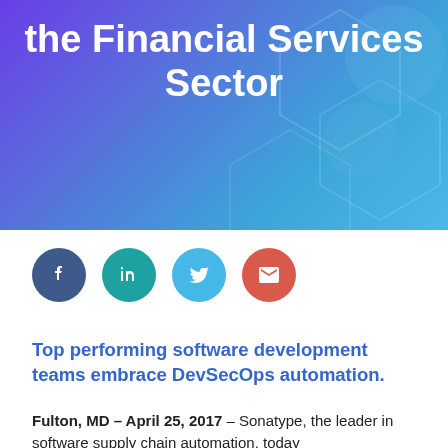the Financial Services Sector
[Figure (illustration): Social media share buttons: Facebook (dark blue circle), LinkedIn (teal circle), Twitter (light blue circle), Email (red circle)]
Top performing software development teams embrace DevSecOps automation.
Fulton, MD – April 25, 2017 – Sonatype, the leader in software supply chain automation, today